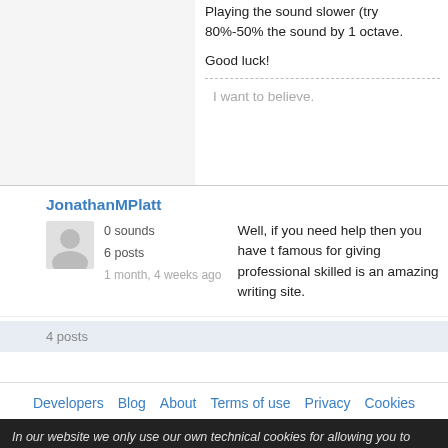Playing the sound slower (try 80%-50% the sound by 1 octave.
Good luck!
I want to believe.
JonathanMPlatt
0 sounds
6 posts
1 month, 4 weeks ago
Well, if you need help then you have t famous for giving professional skilled is an amazing writing site.
4 posts
Developers  Blog  About  Terms of use  Privacy  Cookies
In our website we only use our own technical cookies for allowing you to access a Click here for more information.